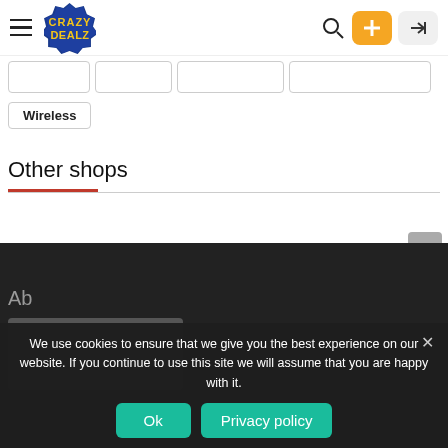Crazy Dealz - navigation header with logo, search, add, and login buttons
Wireless
Other shops
We use cookies to ensure that we give you the best experience on our website. If you continue to use this site we will assume that you are happy with it.
Ok | Privacy policy